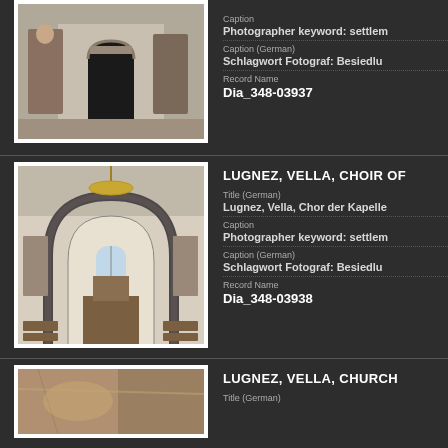[Figure (photo): Church entrance with murals/frescoes on walls, dark doorway archway]
Photographer keyword: settlem
Caption (German)
Schlagwort Fotograf: Besiedlu
Record Name
Dia_348-03937
LUGNEZ, VELLA, CHOIR OF
Title (German)
Lugnez, Vella, Chor der Kapelle
Caption
Photographer keyword: settlem
Caption (German)
Schlagwort Fotograf: Besiedlu
Record Name
Dia_348-03938
[Figure (photo): Interior of chapel choir, stone arch, altar, chandelier, wooden pews]
LUGNEZ, VELLA, CHURCH
Title (German)
[Figure (photo): Partial view of church interior or artifact, warm brown tones]